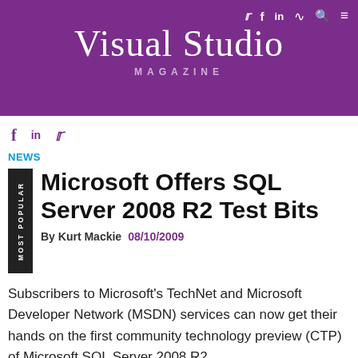Visual Studio MAGAZINE
NEWS
Microsoft Offers SQL Server 2008 R2 Test Bits
By Kurt Mackie 08/10/2009
Subscribers to Microsoft's TechNet and Microsoft Developer Network (MSDN) services can now get their hands on the first community technology preview (CTP) of Microsoft SQL Server 2008 R2.